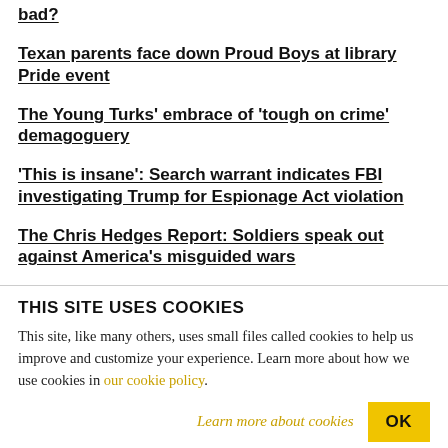bad?
Texan parents face down Proud Boys at library Pride event
The Young Turks' embrace of 'tough on crime' demagoguery
'This is insane': Search warrant indicates FBI investigating Trump for Espionage Act violation
The Chris Hedges Report: Soldiers speak out against America's misguided wars
THIS SITE USES COOKIES
This site, like many others, uses small files called cookies to help us improve and customize your experience. Learn more about how we use cookies in our cookie policy.
Learn more about cookies
OK